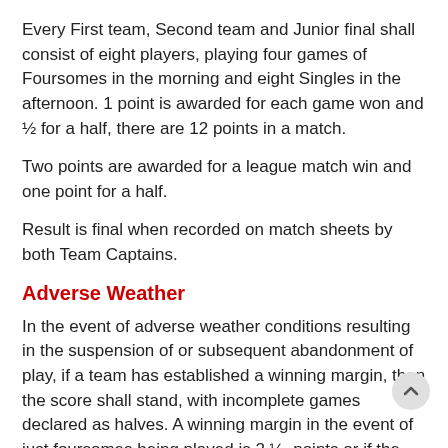Every First team, Second team and Junior final shall consist of eight players, playing four games of Foursomes in the morning and eight Singles in the afternoon. 1 point is awarded for each game won and ½ for a half, there are 12 points in a match.
Two points are awarded for a league match win and one point for a half.
Result is final when recorded on match sheets by both Team Captains.
Adverse Weather
In the event of adverse weather conditions resulting in the suspension of or subsequent abandonment of play, if a team has established a winning margin, then the score shall stand, with incomplete games declared as halves. A winning margin in the event of just foursomes being played is 2 ½  points or if the singles are played  6 ½  points.
A match must start before 15:00 hours. Foursomes must be played before Singles.